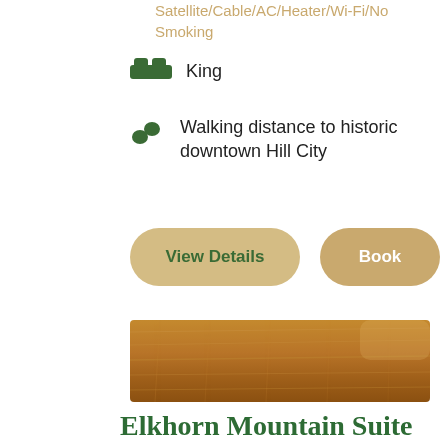Satellite/Cable/AC/Heater/Wi-Fi/No Smoking
King
Walking distance to historic downtown Hill City
View Details
Book
[Figure (photo): Close-up photo of a wooden surface, appears to be a hotel room table or floor with warm wood tones]
Elkhorn Mountain Suite